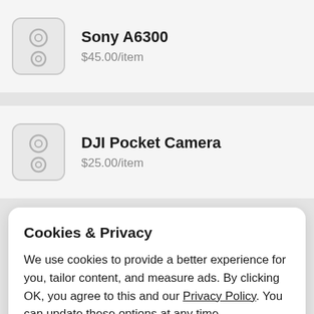[Figure (illustration): Product listing row: Sony A6300 camera icon placeholder (speaker/camera icon in gray rounded rectangle)]
Sony A6300
$45.00/item
[Figure (illustration): Product listing row: DJI Pocket Camera icon placeholder (speaker/camera icon in gray rounded rectangle)]
DJI Pocket Camera
$25.00/item
Cookies & Privacy
We use cookies to provide a better experience for you, tailor content, and measure ads. By clicking OK, you agree to this and our Privacy Policy. You can update these options at any time.
Cookie Preferences
OK